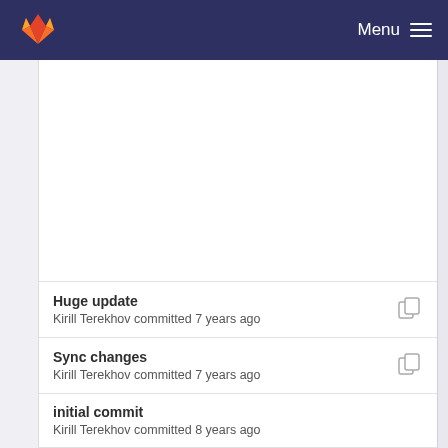Menu
[Figure (screenshot): Large blank white content panel, likely a file diff or code view area]
Huge update
Kirill Terekhov committed 7 years ago
Sync changes
Kirill Terekhov committed 7 years ago
initial commit
Kirill Terekhov committed 8 years ago